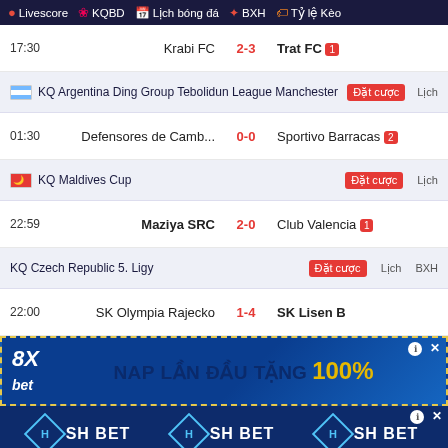Livescore  KQBD  Lịch bóng đá  BXH  Tỷ lệ Kèo
17:30  Krabi FC  2-3  Trat FC 1
KQ Argentina Ding Group Tebolidun League Manchester  Đặt cược  Lịch
01:30  Defensores de Camb...  0-0  Sportivo Barracas 2
KQ Maldives Cup  Đặt cược  Lịch
22:59  Maziya SRC  2-0  Club Valencia 1
KQ Czech Republic 5. Ligy  Đặt cược  Lịch  BXH
22:00  SK Olympia Rajecko  1-4  SK Lisen B
[Figure (screenshot): 8Xbet advertisement banner - NAP LAN DAU TANG 100%]
[Figure (screenshot): SH BET advertisement banner repeated three times]
[Figure (screenshot): THIEN DUONG CHO TAT CA DAN ONG APP 18+ DAU TIEN TRONG NUOC XINH.TV advertisement]